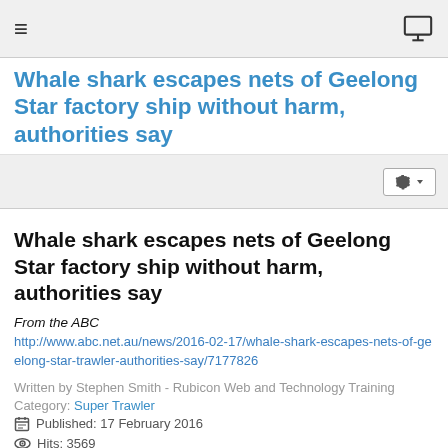≡  [monitor icon]
Whale shark escapes nets of Geelong Star factory ship without harm, authorities say
[Figure (other): Toolbar with gear/settings button]
Whale shark escapes nets of Geelong Star factory ship without harm, authorities say
From the ABC
http://www.abc.net.au/news/2016-02-17/whale-shark-escapes-nets-of-geelong-star-trawler-authorities-say/7177826
Written by Stephen Smith - Rubicon Web and Technology Training
Category: Super Trawler
Published: 17 February 2016
Hits: 3569
Super Trawler    Go to top